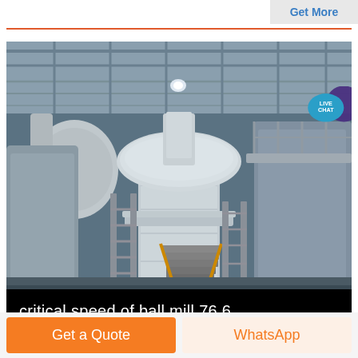Get More
[Figure (photo): Industrial ball mill equipment inside a large factory/plant building. Large cylindrical white mill machine with dome top, platforms, staircases, and railings visible. Industrial ceiling with steel framework above.]
critical speed of ball mill 76 6
Get a Quote
WhatsApp